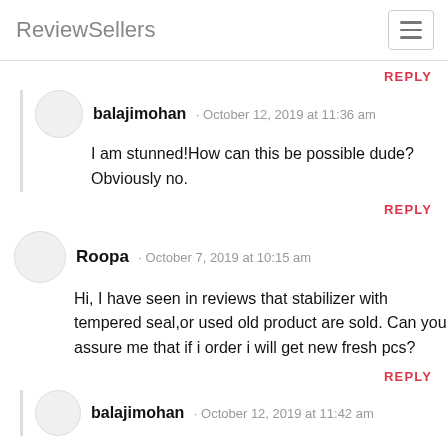ReviewSellers
REPLY
balajimohan · October 12, 2019 at 11:36 am
I am stunned!How can this be possible dude? Obviously no.
REPLY
Roopa · October 7, 2019 at 10:15 am
Hi, I have seen in reviews that stabilizer with tempered seal,or used old product are sold. Can you assure me that if i order i will get new fresh pcs?
REPLY
balajimohan · October 12, 2019 at 11:42 am